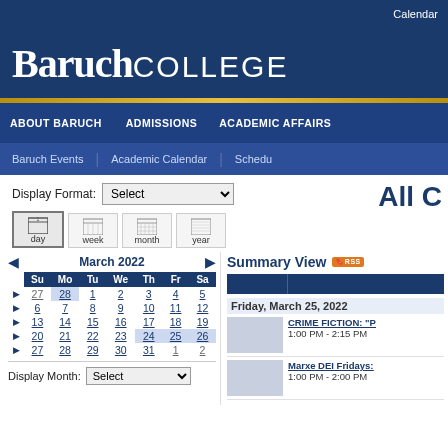Calendar
Baruch COLLEGE
ABOUT BARUCH | ADMISSIONS | ACADEMIC AFFAIRS
Baruch Events | Academic Calendar | Schedule
Display Format: Select
All C
day week month year
[Figure (other): Monthly calendar for March 2022 with navigation arrows. Rows: Su Mo Tu We Th Fr Sa. Week 1: 27 28 1 2 3 4 5. Week 2: 6 7 8 9 10 11 12. Week 3: 13 14 15 16 17 18 19. Week 4: 20 21 22 23 24 25 26. Week 5: 27 28 29 30 31 1 2.]
Display Month: Select
Summary View
Friday, March 25, 2022
CRIME FICTION: "P"
1:00 PM - 2:15 PM
Marxe DEI Fridays:
1:00 PM - 2:00 PM